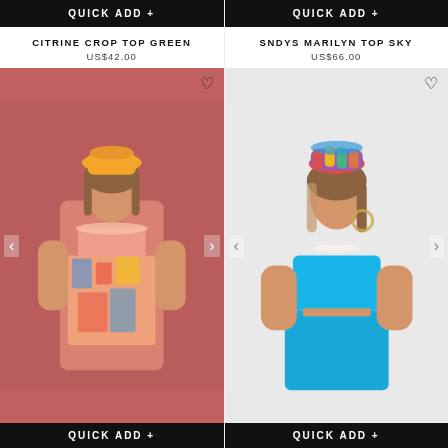QUICK ADD +
CITRINE CROP TOP GREEN
US$42.00
[Figure (photo): Woman wearing colorful printed crop top and matching printed pants with an orange bucket hat, posed against a pink/mauve background.]
QUICK ADD +
QUICK ADD +
SNDYS MARILYN TOP SKY
US$66.00
[Figure (photo): Woman wearing a bright blue bandeau crop top and matching blue pants, with a multicolor crochet beanie, posed against a white background.]
QUICK ADD +